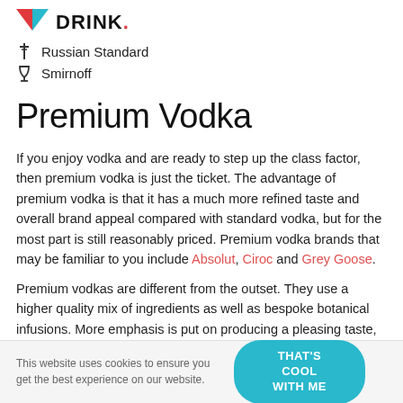DRINK.
Russian Standard
Smirnoff
Premium Vodka
If you enjoy vodka and are ready to step up the class factor, then premium vodka is just the ticket. The advantage of premium vodka is that it has a much more refined taste and overall brand appeal compared with standard vodka, but for the most part is still reasonably priced. Premium vodka brands that may be familiar to you include Absolut, Ciroc and Grey Goose.
Premium vodkas are different from the outset. They use a higher quality mix of ingredients as well as bespoke botanical infusions. More emphasis is put on producing a pleasing taste, removing the sharpness that can be found in cheaper brands
This website uses cookies to ensure you get the best experience on our website. THAT'S COOL WITH ME